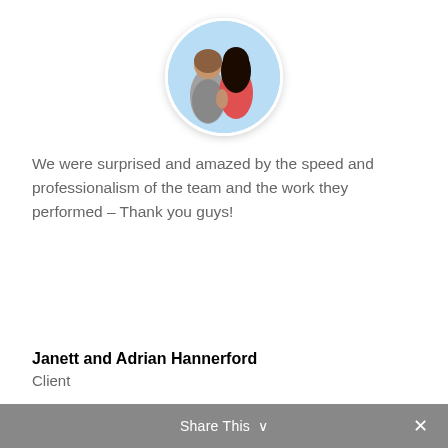[Figure (photo): Circular profile photo of a couple (man in grey shirt, woman in red top) sitting together with a light blue background]
We were surprised and amazed by the speed and professionalism of the team and the work they performed – Thank you guys!
Janett and Adrian Hannerford
Client
[Figure (other): Quote icon – double closing quotation marks inside a grey circle]
[Figure (photo): Circular photo showing outdoor scene with workers and yellow equipment near a building]
Share This